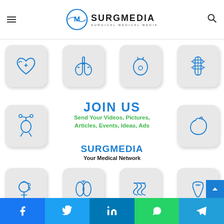[Figure (logo): SurgMedia logo with circular M emblem and text SURGMEDIA / SURGICAL MEDICAL MEDIA]
[Figure (illustration): Row of four medical organ icons: heart, lungs, bladder, spine/injection — rounded square tiles with blue outlines on grey background]
JOIN US
Send Your Videos, Pictures, Articles, Events, Ideas, Ads
[Figure (illustration): Middle row: uterus icon on left, stomach icon on right, flanking central text]
SURGMEDIA
Your Medical Network
[Figure (illustration): Row of four medical icons: brain/head, kidneys, intestines, tooth — rounded square tiles]
[Figure (illustration): Social media share bar: Facebook, Twitter, LinkedIn, WhatsApp, Telegram]